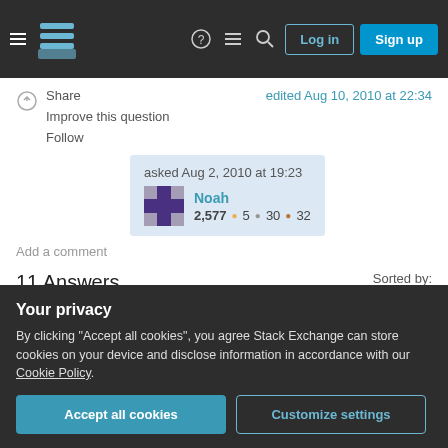Stack Exchange navigation bar with Log in and Sign up buttons
Share | Improve this question | Follow | edited Aug 10, 2010 at 22:34
asked Aug 2, 2010 at 19:23
Noah
2,577 • 5 • 30 • 32
Add a comment
11 Answers
Sorted by: Highest score (default)
Your privacy
By clicking "Accept all cookies", you agree Stack Exchange can store cookies on your device and disclose information in accordance with our Cookie Policy.
Accept all cookies | Customize settings
and for the start menu apps go to: